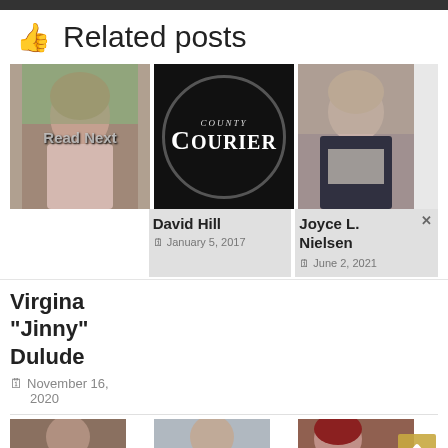👍 Related posts
[Figure (photo): Photo of elderly woman (Virgina 'Jinny' Dulude) with Read Next overlay]
[Figure (photo): County Courier oval logo on black background - related to David Hill post]
[Figure (photo): Photo of Joyce L. Nielsen]
David Hill
January 5, 2017
Joyce L. Nielsen
June 2, 2021
Virgina “Jinny” Dulude
November 16, 2020
[Figure (photo): Photo of man at bottom left]
[Figure (photo): Photo of man at bottom center]
[Figure (photo): Photo of woman with red hair at bottom right]